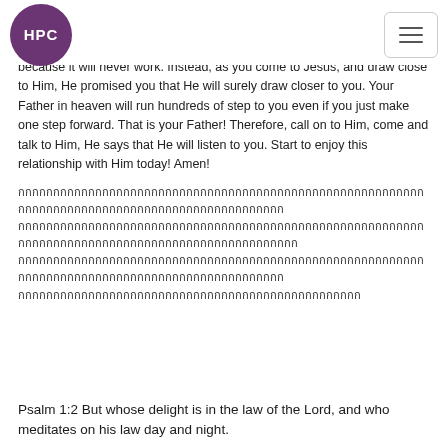HPC [logo] [hamburger menu]
because it will never work. Instead, as you come to Jesus, and draw close to Him, He promised you that He will surely draw closer to you. Your Father in heaven will run hundreds of step to you even if you just make one step forward. That is your Father! Therefore, call on to Him, come and talk to Him, He says that He will listen to you. Start to enjoy this relationship with Him today! Amen!
[Thai language text - multiple lines]
Psalm 1:2 But whose delight is in the law of the Lord, and who meditates on his law day and night.